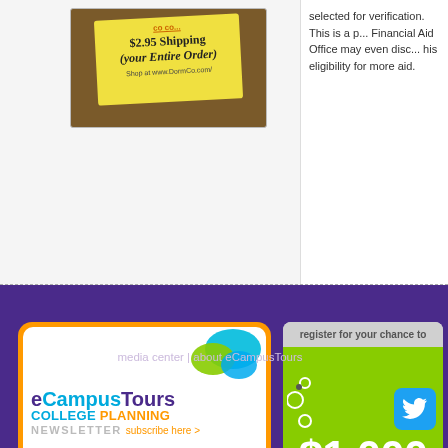[Figure (photo): DormCo advertisement showing yellow sticky note with '$2.95 Shipping (your Entire Order)' text and shop at www.DormCo.com URL, on brown background]
selected for verification. This is a p... Financial Aid Office may even disc... his eligibility for more aid.
[Figure (illustration): eCampusTours College Planning Newsletter banner ad with orange rounded border, speech bubble graphics, purple and blue logo text, subscribe here link]
[Figure (illustration): Scholarship advertisement: register for your chance to win $1,000 scholarship, it's as easy as 1, 2, 3. Green and gray color scheme.]
media center | about eCampusTours